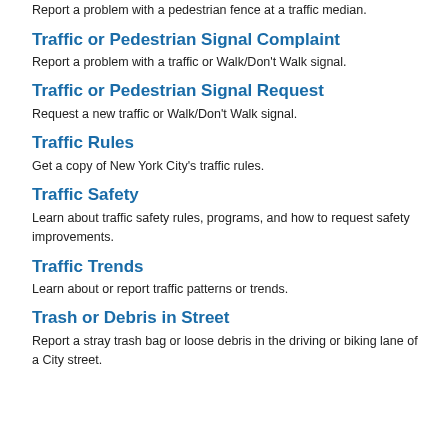Report a problem with a pedestrian fence at a traffic median.
Traffic or Pedestrian Signal Complaint
Report a problem with a traffic or Walk/Don't Walk signal.
Traffic or Pedestrian Signal Request
Request a new traffic or Walk/Don't Walk signal.
Traffic Rules
Get a copy of New York City's traffic rules.
Traffic Safety
Learn about traffic safety rules, programs, and how to request safety improvements.
Traffic Trends
Learn about or report traffic patterns or trends.
Trash or Debris in Street
Report a stray trash bag or loose debris in the driving or biking lane of a City street.